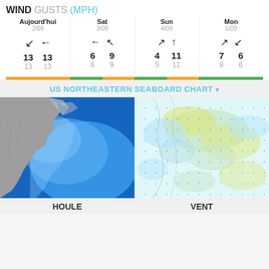WIND GUSTS (MPH)
| Aujourd'hui 2/09 | Sat 3/09 | Sun 4/09 | Mon 5/09 |
| --- | --- | --- | --- |
| ↙ ↙ | ← ↖ | ↗ ↑ | ↗ ↙ |
| 13  13 | 6  9 | 4  11 | 7  6 |
| 13  13 | 6  9 | 5  11 | 8  6 |
US NORTHEASTERN SEABOARD CHART
[Figure (map): Houle – US Northeastern seaboard wave/swell map showing ocean color gradients from blue offshore to lighter near shore, with gray land mass]
[Figure (map): Vent – US Northeastern seaboard wind map showing light blue and yellow-green color gradients with dotted grid overlay]
HOULE
VENT